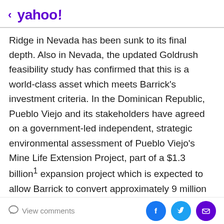< yahoo!
Ridge in Nevada has been sunk to its final depth. Also in Nevada, the updated Goldrush feasibility study has confirmed that this is a world-class asset which meets Barrick's investment criteria. In the Dominican Republic, Pueblo Viejo and its stakeholders have agreed on a government-led independent, strategic environmental assessment of Pueblo Viejo's Mine Life Extension Project, part of a $1.3 billion¹ expansion project which is expected to allow Barrick to convert approximately 9 million ounces of measured and indicated resources to proven and probable reserves, extending this Tier One² mine's life to 2040 and beyond.³ In Mali, Africa, the Loulo-Gounkoto complex's third underground mine has
View comments